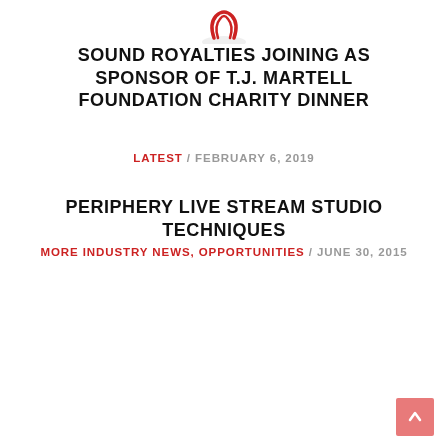[Figure (logo): Partial logo icon visible at top center of page]
SOUND ROYALTIES JOINING AS SPONSOR OF T.J. MARTELL FOUNDATION CHARITY DINNER
LATEST / FEBRUARY 6, 2019
PERIPHERY LIVE STREAM STUDIO TECHNIQUES
MORE INDUSTRY NEWS, OPPORTUNITIES / JUNE 30, 2015